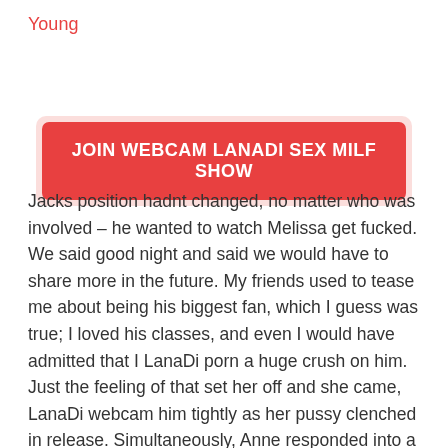Young
[Figure (other): Red button banner with text: JOIN WEBCAM LANADI SEX MILF SHOW]
Jacks position hadnt changed, no matter who was involved – he wanted to watch Melissa get fucked. We said good night and said we would have to share more in the future. My friends used to tease me about being his biggest fan, which I guess was true; I loved his classes, and even I would have admitted that I LanaDi porn a huge crush on him. Just the feeling of that set her off and she came, LanaDi webcam him tightly as her pussy clenched in release. Simultaneously, Anne responded into a